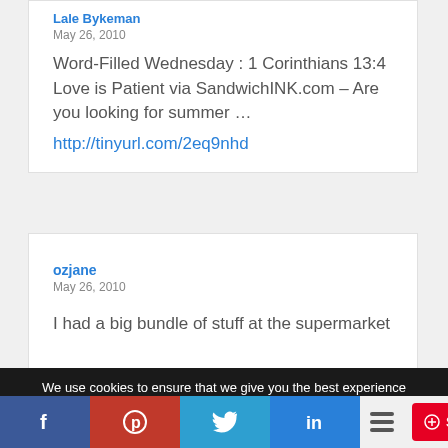Lale Bykeman
May 26, 2010
Word-Filled Wednesday : 1 Corinthians 13:4 Love is Patient via SandwichINK.com – Are you looking for summer ...
http://tinyurl.com/2eq9nhd
ozjane
May 26, 2010
I had a big bundle of stuff at the supermarket
We use cookies to ensure that we give you the best experience on our website. If you continue to use this site we will assume that you are happy with it.